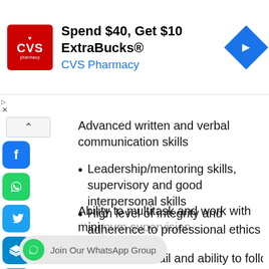[Figure (other): CVS Pharmacy advertisement banner: Spend $40, Get $10 ExtraBucks® CVS Pharmacy with CVS logo and navigation arrow]
Advanced written and verbal communication skills
Leadership/mentoring skills, supervisory and good interpersonal skills
High level of integrity and adherence to professional ethics
Proficiency at using Microsoft office software: MS Word, Excel, PowerPoint, Outlook, etc.
Ability to prioritize, plan and organize workflow to tight timeframes
Ability to multitask and work with minimal supervision
Attention to detail and ability to follow